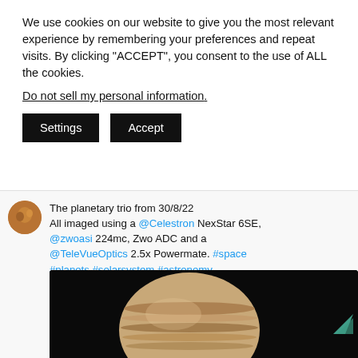We use cookies on our website to give you the most relevant experience by remembering your preferences and repeat visits. By clicking "ACCEPT", you consent to the use of ALL the cookies.
Do not sell my personal information.
Settings | Accept
The planetary trio from 30/8/22
All imaged using a @Celestron NexStar 6SE, @zwoasi 224mc, Zwo ADC and a @TeleVueOptics 2.5x Powermate. #space #planets #solarsystem #astronomy #astrophotography #jupiter #saturn #mars #celestron #nexstar6se #zwo #zwoasi224mc #televue #powermate
[Figure (photo): A telescope photograph of Jupiter against a black background, partially visible at the bottom of the frame. A teal/green arrow indicator appears in the lower right corner.]